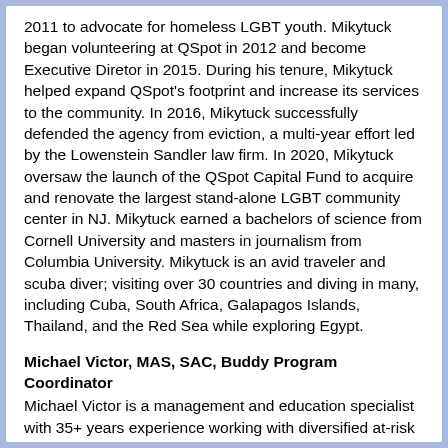2011 to advocate for homeless LGBT youth.  Mikytuck began volunteering at QSpot in 2012 and become Executive Diretor in 2015.  During his tenure, Mikytuck helped expand QSpot's footprint and increase its services to the community.  In 2016, Mikytuck successfully defended the agency from eviction, a multi-year effort led by the Lowenstein Sandler law firm.  In 2020, Mikytuck oversaw the launch of the QSpot Capital Fund to acquire and renovate the largest stand-alone LGBT community center in NJ.  Mikytuck earned a bachelors of science from Cornell University and masters in journalism from Columbia University.  Mikytuck is an avid traveler and scuba diver; visiting over 30 countries and diving in many, including Cuba, South Africa, Galapagos Islands, Thailand, and the Red Sea while exploring Egypt.
Michael Victor, MAS, SAC, Buddy Program Coordinator
Michael Victor is a management and education specialist with 35+ years experience working with diversified at-risk populations in schools and health care settings.  Michael has assisted school administrators on policy and